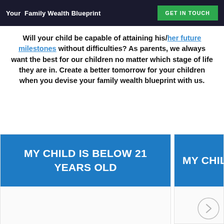Your Family Wealth Blueprint | GET IN TOUCH
Will your child be capable of attaining his/her future milestones without difficulties? As parents, we always want the best for our children no matter which stage of life they are in. Create a better tomorrow for your children when you devise your family wealth blueprint with us.
[Figure (infographic): Two interactive cards side by side. Left card is fully visible with blue header reading 'MY CHILD IS BELOW 21 YEARS OLD'. Right card is partially cut off with blue header reading 'MY CHIL...' (truncated). A circular arrow navigation button is visible at the bottom right.]